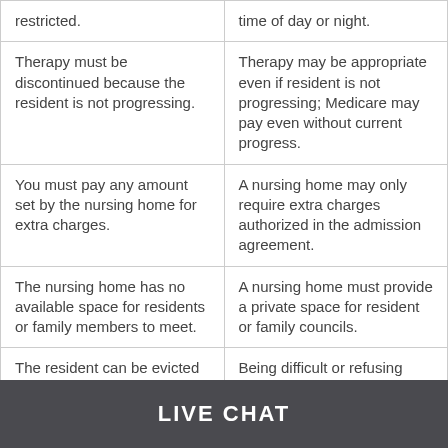| ...visitation rights may be restricted. | ...any time of day or night. |
| Therapy must be discontinued because the resident is not progressing. | Therapy may be appropriate even if resident is not progressing; Medicare may pay even without current progress. |
| You must pay any amount set by the nursing home for extra charges. | A nursing home may only require extra charges authorized in the admission agreement. |
| The nursing home has no available space for residents or family members to meet. | A nursing home must provide a private space for resident or family councils. |
| The resident can be evicted because he or she is difficult or is refusing medical treatment. | Being difficult or refusing treatment does not justify eviction. |
LIVE CHAT